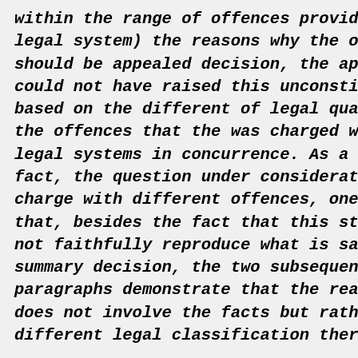within the range of offences provided un legal system) the reasons why the offenc should be appealed decision, the appella could not have raised this unconstitutio based on the different of legal qualific the offences that the was charged with b legal systems in concurrence. As a matte fact, the question under consideration i charge with different offences, one shou that, besides the fact that this stateme not faithfully reproduce what is said in summary decision, the two subsequent paragraphs demonstrate that the real pro does not involve the facts but rather th different legal classification thereof."